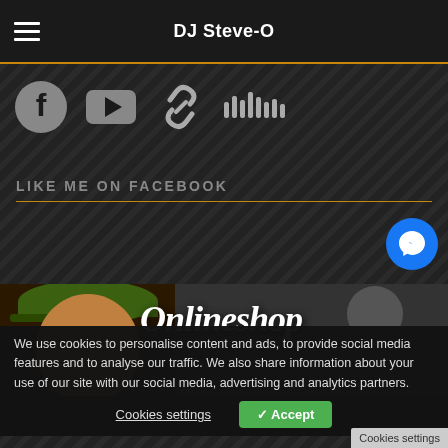DJ Steve-O
[Figure (illustration): Social media icons: Facebook, YouTube, chain/link, SoundCloud]
LIKE ME ON FACEBOOK
[Figure (illustration): Facebook Messenger blue circle button]
[Figure (photo): Banner image showing DJ Steve-O with green cap on left side and a person on right side with 'Onlineshop' text overlay and DJSTEVEO-ONLINESHOP.DE text]
We use cookies to personalise content and ads, to provide social media features and to analyse our traffic. We also share information about your use of our site with our social media, advertising and analytics partners.
Cookies settings   ✓ Accept
Cookies settings